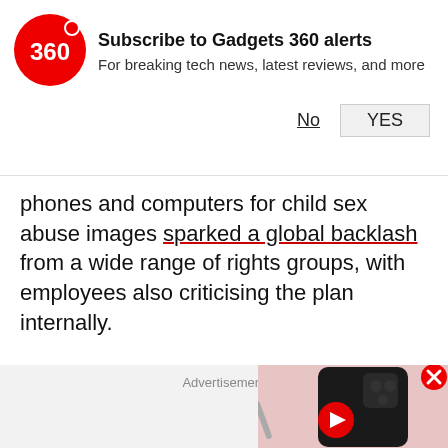[Figure (logo): Gadgets 360 logo - red circle with '360' text in white and a red dot to the right]
Subscribe to Gadgets 360 alerts
For breaking tech news, latest reviews, and more
No
YES
phones and computers for child sex abuse images sparked a global backlash from a wide range of rights groups, with employees also criticising the plan internally.
Advertisement
[Figure (screenshot): Video thumbnail showing a dark smartphone with multi-camera setup on a pink background, with a red play button overlay]